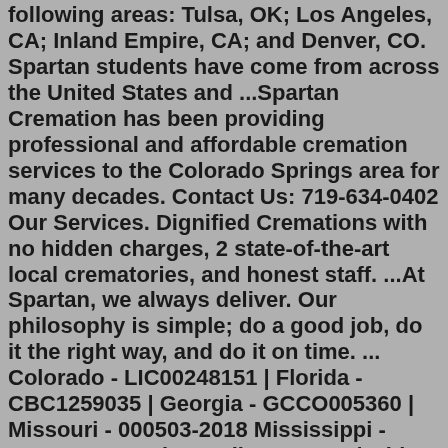following areas: Tulsa, OK; Los Angeles, CA; Inland Empire, CA; and Denver, CO. Spartan students have come from across the United States and ...Spartan Cremation has been providing professional and affordable cremation services to the Colorado Springs area for many decades. Contact Us: 719-634-0402 Our Services. Dignified Cremations with no hidden charges, 2 state-of-the-art local crematories, and honest staff. ...At Spartan, we always deliver. Our philosophy is simple; do a good job, do it the right way, and do it on time. ... Colorado - LIC00248151 | Florida - CBC1259035 | Georgia - GCCO005360 | Missouri - 000503-2018 Mississippi - 22045-MC North Carolina - 77804 | Ohio - 18-000339 | South Carolina - G120484 | Tennessee - 70315 ...At Spartan Funeral Home in Colorado Springs, Colorado CO, an experienced staff will comfort and assist grieving families during this difficult time. Call Us Today: 361-575-8453 Toll Free: 888-885-1785 Ragnar Trail Colorado, formerly Ragnar Trail Snowmass-CO, is back at Snowmass Village. This is a full-blown 3-day